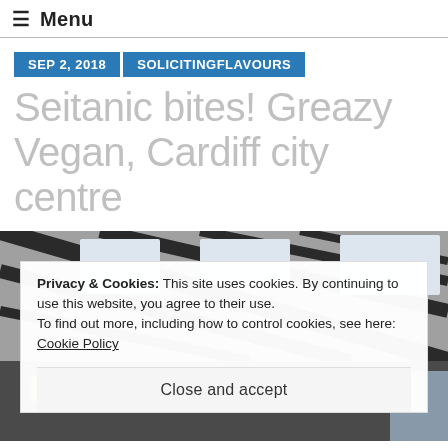≡ Menu
SEP 2, 2018   SOLICITINGFLAVOURS
Seitanic bites! Greazy Vegan, Cardiff city centre
[Figure (photo): Interior photo of a restaurant or cafe with geometric ceiling panels, dark framing, and glass windows. A cookie consent banner overlays the lower half of the image.]
Privacy & Cookies: This site uses cookies. By continuing to use this website, you agree to their use.
To find out more, including how to control cookies, see here: Cookie Policy
Close and accept